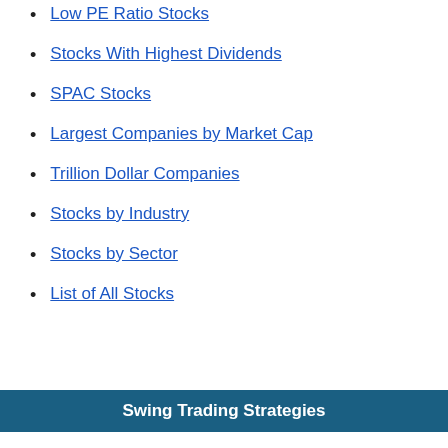Low PE Ratio Stocks
Stocks With Highest Dividends
SPAC Stocks
Largest Companies by Market Cap
Trillion Dollar Companies
Stocks by Industry
Stocks by Sector
List of All Stocks
Swing Trading Strategies